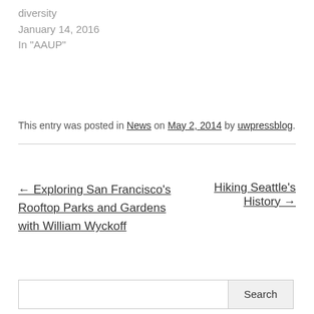diversity
January 14, 2016
In "AAUP"
This entry was posted in News on May 2, 2014 by uwpressblog.
← Exploring San Francisco's Rooftop Parks and Gardens with William Wyckoff
Hiking Seattle's History →
Search
FOLLOW BLOG VIA EMAIL